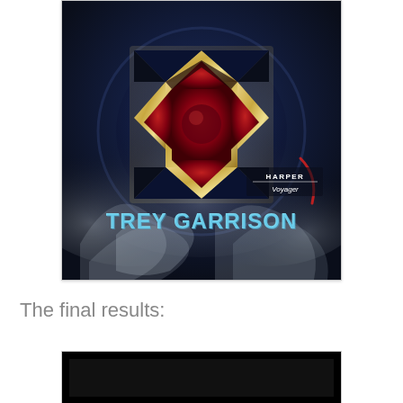[Figure (illustration): Book cover showing a red and gold Templar/Iron Cross emblem on a dark blue smoky background. Text reads 'HARPER Voyager' and 'TREY GARRISON' in light blue letters at the bottom.]
The final results:
[Figure (screenshot): A partially visible dark/black interface element, likely a screenshot of a results display.]